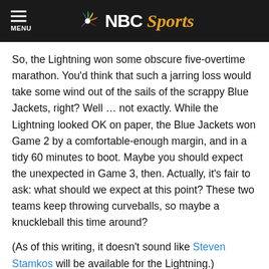NBC Sports
So, the Lightning won some obscure five-overtime marathon. You'd think that such a jarring loss would take some wind out of the sails of the scrappy Blue Jackets, right? Well … not exactly. While the Lightning looked OK on paper, the Blue Jackets won Game 2 by a comfortable-enough margin, and in a tidy 60 minutes to boot. Maybe you should expect the unexpected in Game 3, then. Actually, it's fair to ask: what should we expect at this point? These two teams keep throwing curveballs, so maybe a knuckleball this time around?
(As of this writing, it doesn't sound like Steven Stamkos will be available for the Lightning.)
Game 3: Blackhawks vs. Golden Knights (VGK leads 2-0) – 8 p.m ET – NBC; livestream